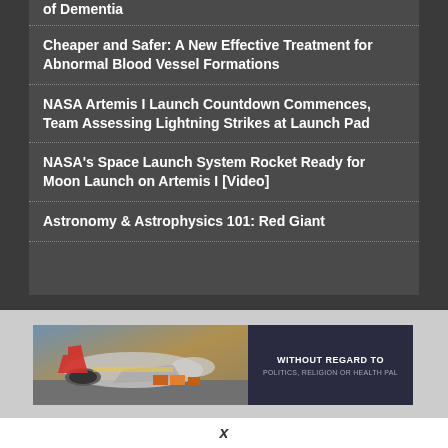of Dementia
Cheaper and Safer: A New Effective Treatment for Abnormal Blood Vessel Formations
NASA Artemis I Launch Countdown Commences, Team Assessing Lightning Strikes at Launch Pad
NASA's Space Launch System Rocket Ready for Moon Launch on Artemis I [Video]
Astronomy & Astrophysics 101: Red Giant
[Figure (photo): Advertisement banner with airplane image on left and text 'WITHOUT REGARD TO POLITICS, RELIGION OR HEALTH PAL' on dark blue right panel]
x